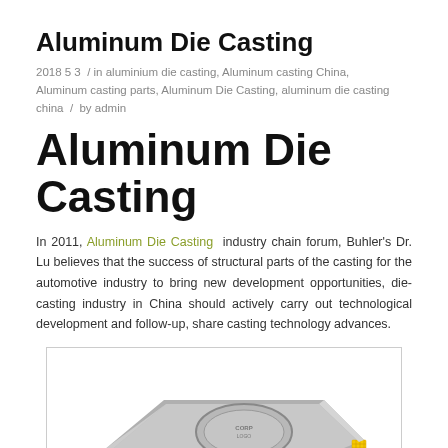Aluminum Die Casting
2018 5 3 / in aluminium die casting, Aluminum casting China, Aluminum casting parts, Aluminum Die Casting, aluminum die casting china / by admin
Aluminum Die Casting
In 2011, Aluminum Die Casting industry chain forum, Buhler's Dr. Lu believes that the success of structural parts of the casting for the automotive industry to bring new development opportunities, die-casting industry in China should actively carry out technological development and follow-up, share casting technology advances.
[Figure (photo): Photo of an aluminum die cast part — a flat rectangular metallic piece with an embossed oval logo on top and a yellow reflective mesh panel on the side.]